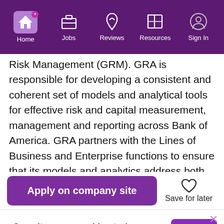Home | Jobs | Reviews | Resources | Sign In
Risk Management (GRM). GRA is responsible for developing a consistent and coherent set of models and analytical tools for effective risk and capital measurement, management and reporting across Bank of America. GRA partners with the Lines of Business and Enterprise functions to ensure that its models and analytics address both internal and regulatory requirements, such as quarterly Enterprise Stress Testing (EST), the annual Comprehensive Capital Analysis and
[Figure (screenshot): Apply on company site button (purple) and Save for later button with heart icon]
Our site uses cookies to improve your experience. Read More
[Figure (screenshot): Got It! button (purple) for cookie consent]